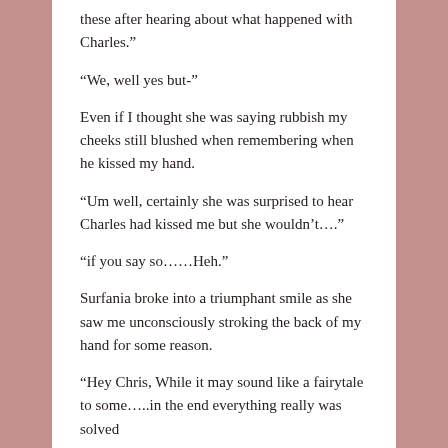these after hearing about what happened with Charles.”
“We, well yes but-”
Even if I thought she was saying rubbish my cheeks still blushed when remembering when he kissed my hand.
“Um well, certainly she was surprised to hear Charles had kissed me but she wouldn’t….”
“if you say so……Heh.”
Surfania broke into a triumphant smile as she saw me unconsciously stroking the back of my hand for some reason.
“Hey Chris, While it may sound like a fairytale to some…..in the end everything really was solved